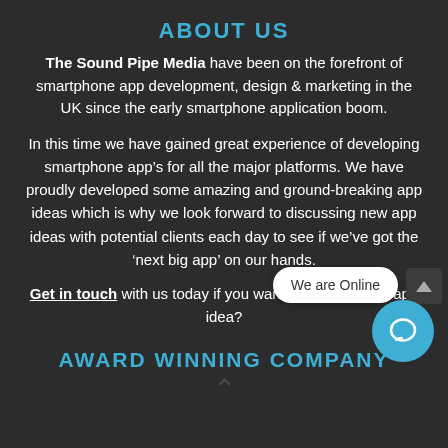ABOUT US
The Sound Pipe Media have been on the forefront of smartphone app development, design & marketing in the UK since the early smartphone application boom.
In this time we have gained great experience of developing smartphone app’s for all the major platforms. We have proudly developed some amazing and ground-breaking app ideas which is why we look forward to discussing new app ideas with potential clients each day to see if we’ve got the ‘next big app’ on our hands.
Get in touch with us today if you want to discuss your app idea?
AWARD WINNING COMPANY
[Figure (other): We are Online chat bubble with blue chat icon button]